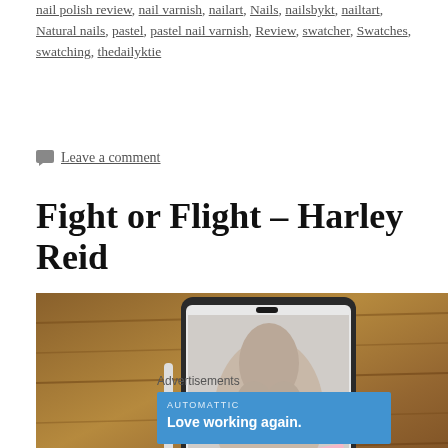nail polish review, nail varnish, nailart, Nails, nailsbykt, nailtart, Natural nails, pastel, pastel nail varnish, Review, swatcher, Swatches, swatching, thedailyktie
Leave a comment
Fight or Flight – Harley Reid
[Figure (photo): Book cover of Fight or Flight by Harley Reid displayed on a tablet, with a pencil stylus beside it, on a wooden surface. A pink sticky note is visible on the cover.]
Advertisements
[Figure (screenshot): Advertisement banner from Automattic with text 'Love working again.' on a blue background]